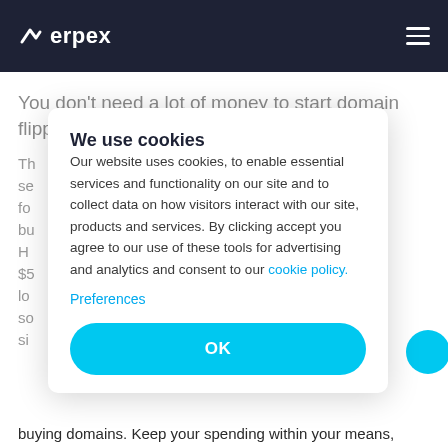Verpex
You don't need a lot of money to start domain flipping.
Th...
se...
fo...
bu...
H...
$5...
lo...
so...
si...
We use cookies
Our website uses cookies, to enable essential services and functionality on our site and to collect data on how visitors interact with our site, products and services. By clicking accept you agree to our use of these tools for advertising and analytics and consent to our cookie policy.
Preferences
OK
buying domains. Keep your spending within your means,